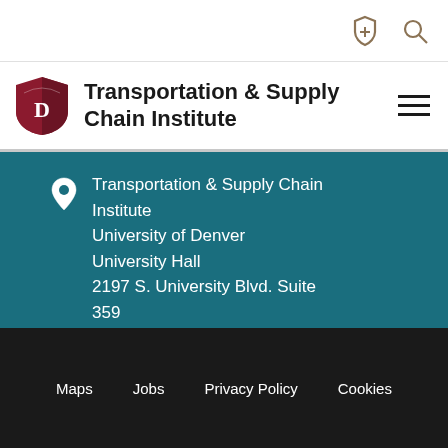Transportation & Supply Chain Institute
Transportation & Supply Chain Institute
University of Denver
University Hall
2197 S. University Blvd. Suite 359
[Figure (logo): LinkedIn icon]
Maps   Jobs   Privacy Policy   Cookies